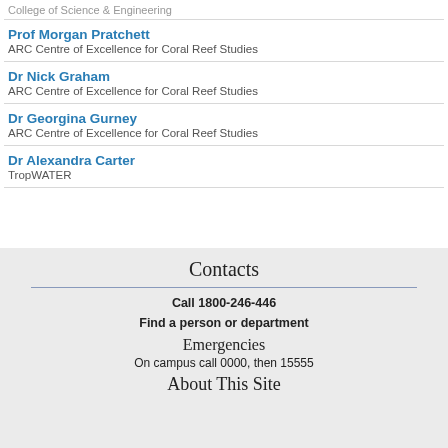College of Science & Engineering
Prof Morgan Pratchett
ARC Centre of Excellence for Coral Reef Studies
Dr Nick Graham
ARC Centre of Excellence for Coral Reef Studies
Dr Georgina Gurney
ARC Centre of Excellence for Coral Reef Studies
Dr Alexandra Carter
TropWATER
Contacts
Call 1800-246-446
Find a person or department
Emergencies
On campus call 0000, then 15555
About This Site